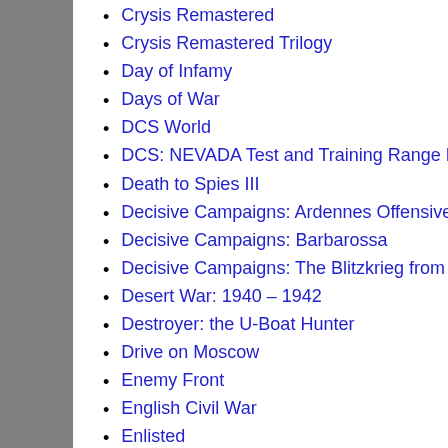Crysis Remastered
Crysis Remastered Trilogy
Day of Infamy
Days of War
DCS World
DCS: NEVADA Test and Training Range Map
Death to Spies III
Decisive Campaigns: Ardennes Offensive
Decisive Campaigns: Barbarossa
Decisive Campaigns: The Blitzkrieg from Warsaw to Paris
Desert War: 1940 – 1942
Destroyer: the U-Boat Hunter
Drive on Moscow
Enemy Front
English Civil War
Enlisted
Escalation 1985
Escape from Tarkov
Europa Universalis IV
F-15C: DCS Flaming Cliffs
Fallout 4
Fallout 76